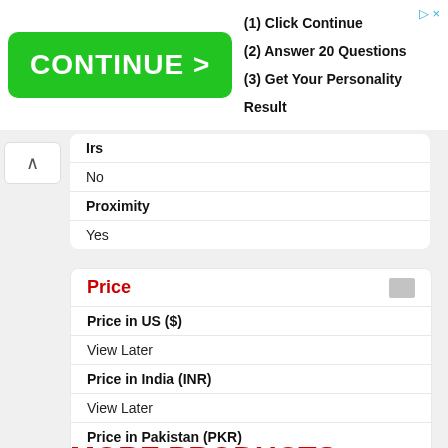[Figure (screenshot): Green CONTINUE > advertisement banner with steps: (1) Click Continue, (2) Answer 20 Questions, (3) Get Your Personality Result]
| IRS |  |
|  | No |
| Proximity |  |
|  | Yes |
Price
| Price in US ($) |  |
|  | View Later |
| Price in India (INR) |  |
|  | View Later |
| Price in Pakistan (PKR) |  |
|  | View Later |
MORE PRODUCTS FROM XIAOMI